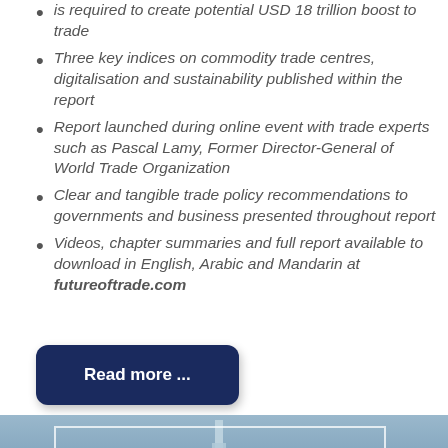is required to create potential USD 18 trillion boost to trade
Three key indices on commodity trade centres, digitalisation and sustainability published within the report
Report launched during online event with trade experts such as Pascal Lamy, Former Director-General of World Trade Organization
Clear and tangible trade policy recommendations to governments and business presented throughout report
Videos, chapter summaries and full report available to download in English, Arabic and Mandarin at futureoftrade.com
[Figure (other): Aerial photograph of a city skyline with a prominent tower, shown at the bottom of the page]